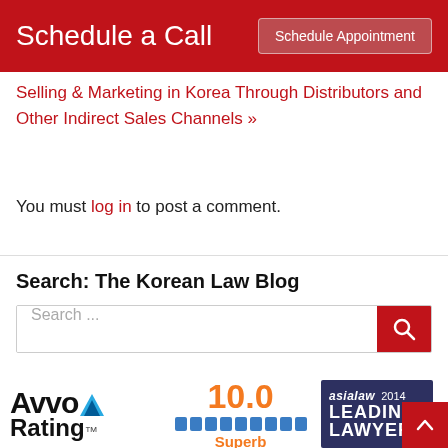Schedule a Call | Schedule Appointment
Selling & Marketing in Korea Through Distributors and Other Indirect Sales Channels »
You must log in to post a comment.
Search: The Korean Law Blog
[Figure (screenshot): Search input box with red search button containing magnifying glass icon]
[Figure (logo): Avvo Rating logo with 10.0 Superb score bar, and asialaw 2014 Leading Lawyer badge]